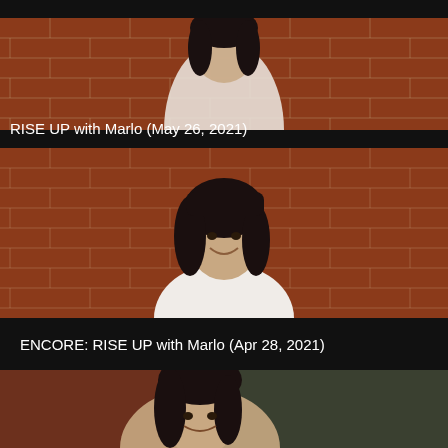[Figure (photo): Partial photo of Marlo in white top against brick wall, cropped at top]
RISE UP with Marlo (May 26, 2021)
[Figure (photo): Photo of Marlo smiling, dark bob haircut, white tank top, brick wall background]
ENCORE: RISE UP with Marlo (Apr 28, 2021)
[Figure (photo): Partial photo of Marlo outdoors near brick wall, cropped at bottom]